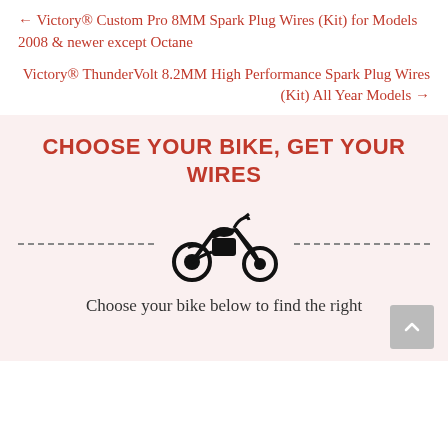← Victory® Custom Pro 8MM Spark Plug Wires (Kit) for Models 2008 & newer except Octane
Victory® ThunderVolt 8.2MM High Performance Spark Plug Wires (Kit) All Year Models →
CHOOSE YOUR BIKE, GET YOUR WIRES
[Figure (illustration): Black silhouette icon of a motorcycle (chopper/cruiser style) centered between two dashed horizontal lines]
Choose your bike below to find the right